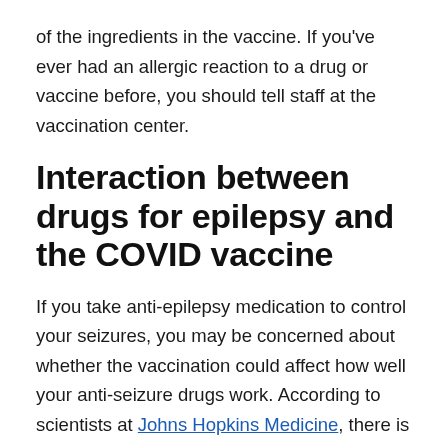of the ingredients in the vaccine. If you've ever had an allergic reaction to a drug or vaccine before, you should tell staff at the vaccination center.
Interaction between drugs for epilepsy and the COVID vaccine
If you take anti-epilepsy medication to control your seizures, you may be concerned about whether the vaccination could affect how well your anti-seizure drugs work. According to scientists at Johns Hopkins Medicine, there is no reason to believe that the vaccine will reduce the